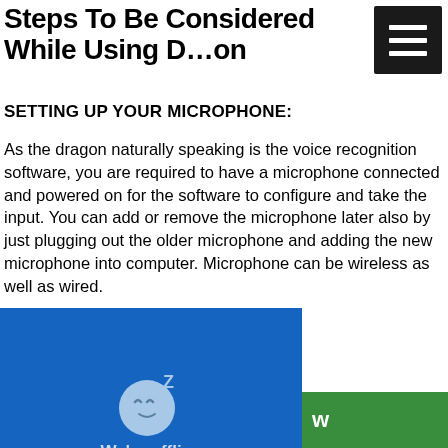Steps To Be Considered While Using Dragon
SETTING UP YOUR MICROPHONE:
As the dragon naturally speaking is the voice recognition software, you are required to have a microphone connected and powered on for the software to configure and take the input. You can add or remove the microphone later also by just plugging out the older microphone and adding the new microphone into computer. Microphone can be wireless as well as wired.
C...AKING:
B... ire to complete some c... rofile and configure the
[Figure (other): Blue chat widget popup overlay showing a sleeping face emoji with Z's, text 'We're offline' and 'Leave a message' link]
[Figure (other): Green bar at bottom right with letter 'w']